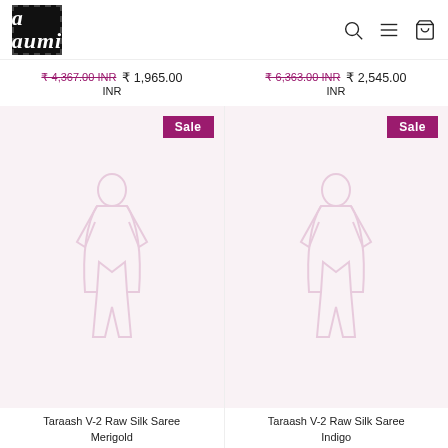[Figure (logo): Aumi brand logo — black square with stylized 'a' in white, stamp border]
₹ 4,367.00 INR  ₹ 1,965.00 INR
₹ 6,363.00 INR  ₹ 2,545.00 INR
[Figure (photo): Taraash V-2 Raw Silk Saree Merigold product image with Sale badge]
[Figure (photo): Taraash V-2 Raw Silk Saree Indigo product image with Sale badge]
Taraash V-2 Raw Silk Saree Merigold
Taraash V-2 Raw Silk Saree Indigo